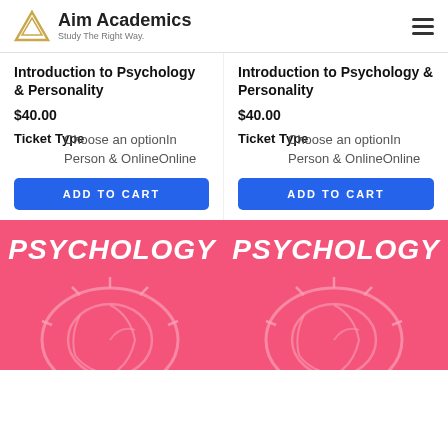Aim Academics — Study The Right Way.
Introduction to Psychology & Personality
$40.00
Ticket Type: Choose an optionIn Person & OnlineOnline
ADD TO CART
Introduction to Psychology & Personality
$40.00
Ticket Type: Choose an optionIn Person & OnlineOnline
ADD TO CART
[Figure (illustration): Pink background card with PSYCHOLOGY text and brain illustration]
[Figure (illustration): Pink background card with PSYCHOLOGY text and brain illustration]